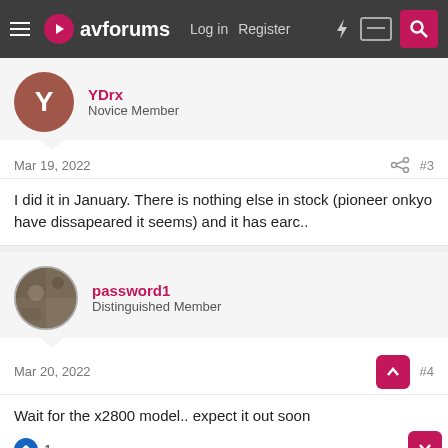avforums  Log in  Register
YDrx
Novice Member
Mar 19, 2022  #3
I did it in January. There is nothing else in stock (pioneer onkyo have dissapeared it seems) and it has earc..
password1
Distinguished Member
Mar 20, 2022  #4
Wait for the x2800 model.. expect it out soon
👍 1
nanite2b